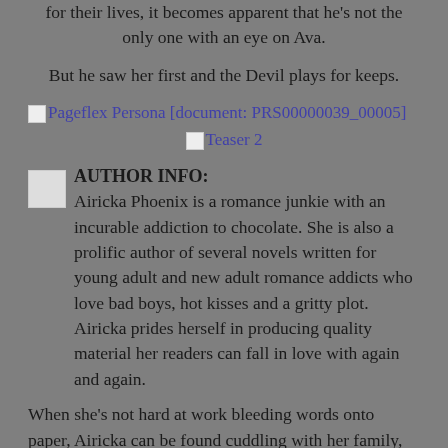for their lives, it becomes apparent that he's not the only one with an eye on Ava.
But he saw her first and the Devil plays for keeps.
[Figure (other): Broken image placeholder for Pageflex Persona [document: PRS00000039_00005]]
[Figure (other): Broken image placeholder for Teaser 2]
AUTHOR INFO:
[Figure (other): Small broken image icon next to author info header]
Airicka Phoenix is a romance junkie with an incurable addiction to chocolate. She is also a prolific author of several novels written for young adult and new adult romance addicts who love bad boys, hot kisses and a gritty plot. Airicka prides herself in producing quality material her readers can fall in love with again and again.
When she's not hard at work bleeding words onto paper, Airicka can be found cuddling with her family, reading, watching TV